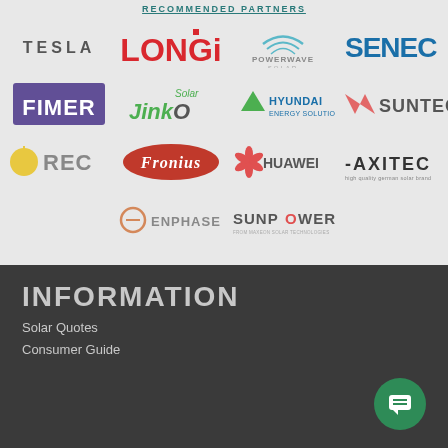RECOMMENDED PARTNERS
[Figure (logo): Grid of brand logos: Tesla, LONGi, Powerwave Solar, SENEC, FIMER, JinKO Solar, Hyundai Energy Solutions, Suntech, REC, Fronius, Huawei, AXITEC, Enphase, SunPower]
INFORMATION
Solar Quotes
Consumer Guide